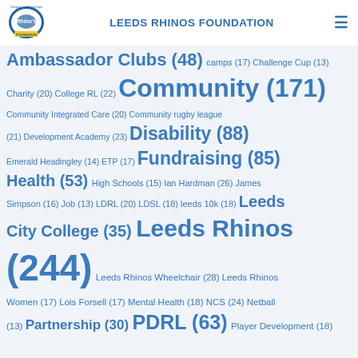LEEDS RHINOS FOUNDATION
Ambassador Clubs (48) camps (17) Challenge Cup (13) Charity (20) College RL (22) Community (171) Community Integrated Care (20) Community rugby league (21) Development Academy (23) Disability (88) Emerald Headingley (14) ETP (17) Fundraising (85) Health (53) High Schools (15) Ian Hardman (26) James Simpson (16) Job (13) LDRL (20) LDSL (18) leeds 10k (18) Leeds City College (35) Leeds Rhinos (244) Leeds Rhinos Wheelchair (28) Leeds Rhinos Women (17) Lois Forsell (17) Mental Health (18) NCS (24) Netball (13) Partnership (30) PDRL (63) Player Development (18)